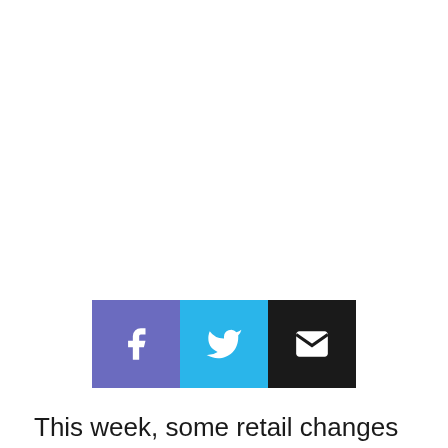[Figure (infographic): Three social sharing buttons in a row: Facebook (purple/blue square with 'f' icon), Twitter (light blue square with bird icon), Email (black square with envelope icon)]
This week, some retail changes for the D23 Expo, Magic Key Holders could have an easier way to get reservations, more electrical parade merchandise, new flower displays in Downtown Disney, we talk to VIP tour guest Kawehi, and